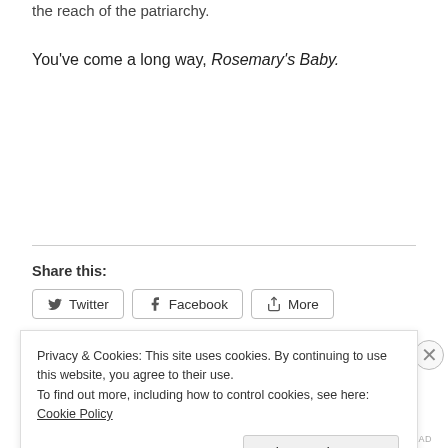the reach of the patriarchy.
You've come a long way, Rosemary's Baby.
Share this:
[Figure (screenshot): Share buttons row with Twitter, Facebook, and More buttons]
Privacy & Cookies: This site uses cookies. By continuing to use this website, you agree to their use.
To find out more, including how to control cookies, see here: Cookie Policy
Close and accept
REPORT THIS AD